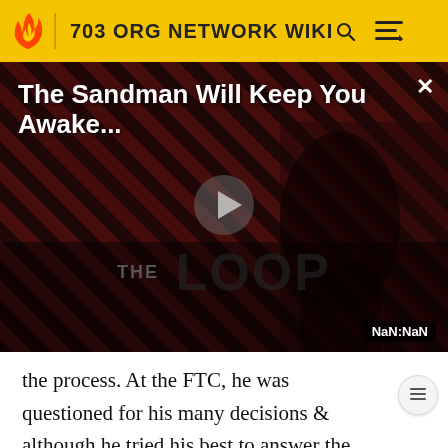703 ORG NETWORK WIKI
[Figure (screenshot): Video player thumbnail showing a dark figure against a red diagonal-striped background with 'THE LOOP' text overlay, play button in center, title 'The Sandman Will Keep You Awake...' at top, and 'NaN:NaN' timer badge at bottom right.]
the process. At the FTC, he was questioned for his many decisions & although he tried his best to answer the questions to the best of his ability, he fell short of getting the title of Sole Survivor by losing in a 5-2 vote.